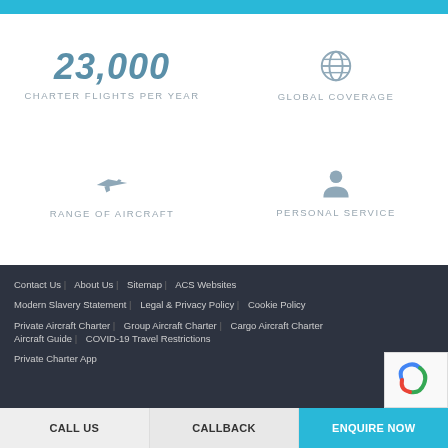[Figure (infographic): 23,000 Charter Flights Per Year stat with large bold italic number]
[Figure (infographic): Globe icon representing Global Coverage]
[Figure (infographic): Airplane icon representing Range of Aircraft]
[Figure (infographic): Person/user icon representing Personal Service]
Contact Us  About Us  Sitemap  ACS Websites
Modern Slavery Statement  Legal & Privacy Policy  Cookie Policy
Private Aircraft Charter  Group Aircraft Charter  Cargo Aircraft Charter  Aircraft Guide  COVID-19 Travel Restrictions
Private Charter App
CALL US   CALLBACK   ENQUIRE NOW